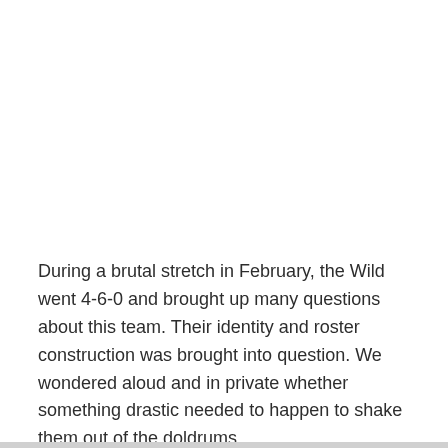During a brutal stretch in February, the Wild went 4-6-0 and brought up many questions about this team. Their identity and roster construction was brought into question. We wondered aloud and in private whether something drastic needed to happen to shake them out of the doldrums.